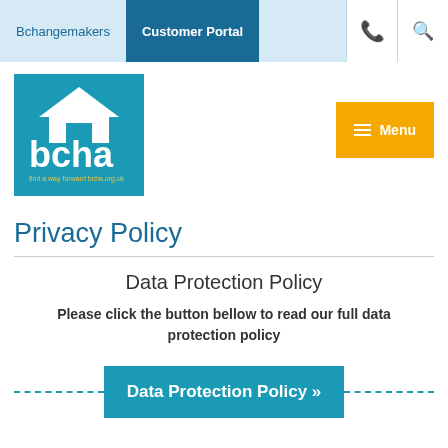Bchangemakers | Customer Portal
[Figure (logo): BCHA logo - teal background with white house icon and 'bcha' text, tagline 'find a way forward bcha.org.uk']
Privacy Policy
Data Protection Policy
Please click the button bellow to read our full data protection policy
Data Protection Policy »